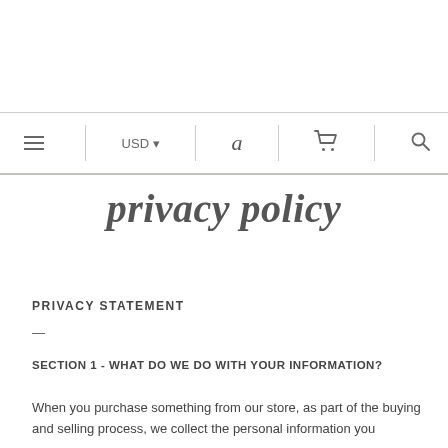privacy policy
PRIVACY STATEMENT
—
SECTION 1 - WHAT DO WE DO WITH YOUR INFORMATION?
When you purchase something from our store, as part of the buying and selling process, we collect the personal information you